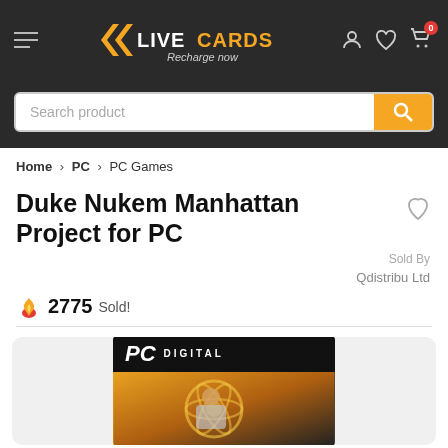[Figure (screenshot): LiveCards website header with logo, hamburger menu, heart and cart icons]
[Figure (screenshot): Search bar with orange search button]
Home > PC > PC Games
Duke Nukem Manhattan Project for PC
Sold By Qdistribu Ltd
2775 Sold!
[Figure (screenshot): PC Digital banner above Duke Nukem Manhattan Project game box art]